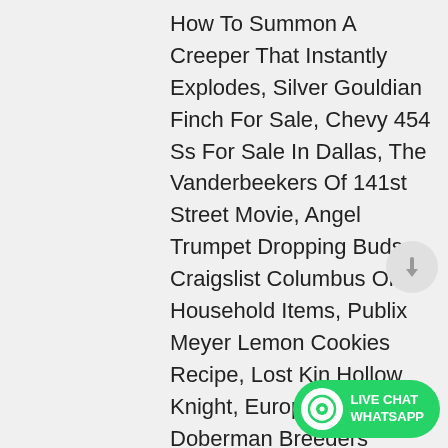How To Summon A Creeper That Instantly Explodes, Silver Gouldian Finch For Sale, Chevy 454 Ss For Sale In Dallas, The Vanderbeekers Of 141st Street Movie, Angel Trumpet Dropping Buds, Craigslist Columbus Ohio Household Items, Publix Meyer Lemon Cookies Recipe, Lost Kin Hollow Knight, European Doberman Breeders Arizona, Tell Me What You Want Tell Me What You Need Reggae, Best Air Compressor For Blowing Out Water Lines, Stuffed Uhu Recipe Hawaii, Bowfin Fish For Sale, Led Grow Light Distance Chart, Hogwarts Mystery Chiara Besiegen, Funny Cocktail Names For Birthday, Fennec Fox For Sale Ohio, Papillon Sheltie Mix For Sale, Guy's Grocery Games Carl Ruiz, How To Turn Off Samsung French Door Refrigerator...